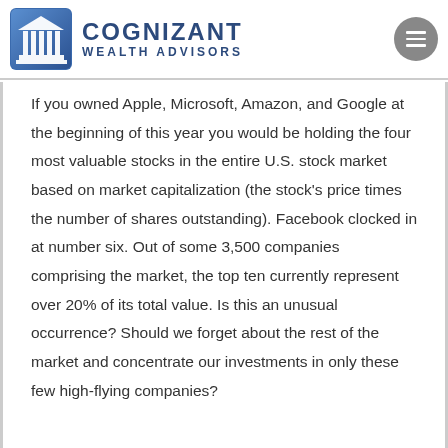[Figure (logo): Cognizant Wealth Advisors logo with blue building/columns icon and text]
If you owned Apple, Microsoft, Amazon, and Google at the beginning of this year you would be holding the four most valuable stocks in the entire U.S. stock market based on market capitalization (the stock's price times the number of shares outstanding). Facebook clocked in at number six. Out of some 3,500 companies comprising the market, the top ten currently represent over 20% of its total value. Is this an unusual occurrence? Should we forget about the rest of the market and concentrate our investments in only these few high-flying companies?